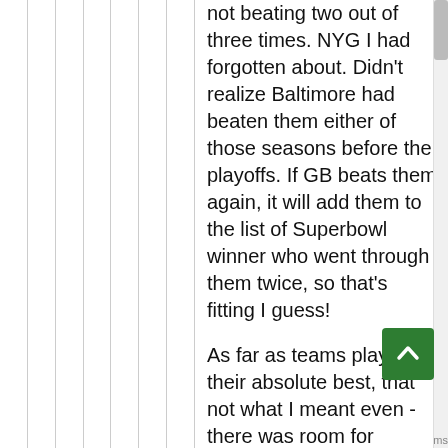not beating two out of three times. NYG I had forgotten about. Didn't realize Baltimore had beaten them either of those seasons before the playoffs. If GB beats them again, it will add them to the list of Superbowl winner who went through them twice, so that's fitting I guess!
As far as teams playing their absolute best, that not what I meant even - there was room for improvement in simple ways for GB. Not sending kickoffs short and out of bounds is a simple thing to do, so while I could've